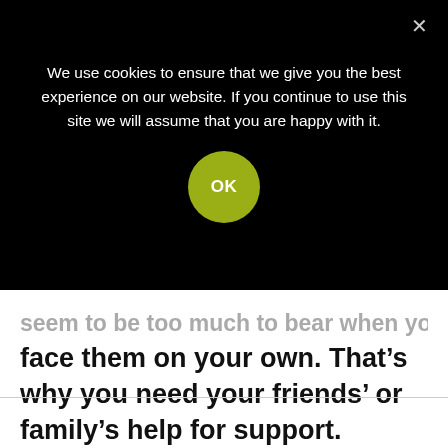We use cookies to ensure that we give you the best experience on our website. If you continue to use this site we will assume that you are happy with it.
OK
seem to be too much to bear when you face them on your own. That’s why you need your friends’ or family’s help for support. Because they love and care about you, they can lend you a helping hand so you can have a shoulder to cry on, should you need it.